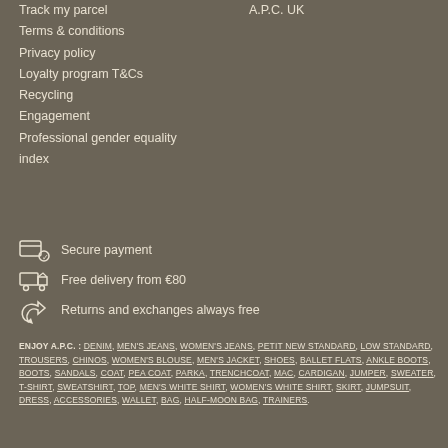Track my parcel
Terms & conditions
Privacy policy
Loyalty program T&Cs
Recycling
Engagement
Professional gender equality index
A.P.C. UK
Secure payment
Free delivery from €80
Returns and exchanges always free
ENJOY A.P.C. : DENIM, MEN'S JEANS, WOMEN'S JEANS, PETIT NEW STANDARD, LOW STANDARD, TROUSERS, CHINOS, WOMEN'S BLOUSE, MEN'S JACKET, SHOES, BALLET FLATS, ANKLE BOOTS, BOOTS, SANDALS, COAT, PEA COAT, PARKA, TRENCHCOAT, MAC, CARDIGAN, JUMPER, SWEATER, T-SHIRT, SWEATSHIRT, TOP, MEN'S WHITE SHIRT, WOMEN'S WHITE SHIRT, SKIRT, JUMPSUIT, DRESS, ACCESSORIES, WALLET, BAG, HALF-MOON BAG, TRAINERS.